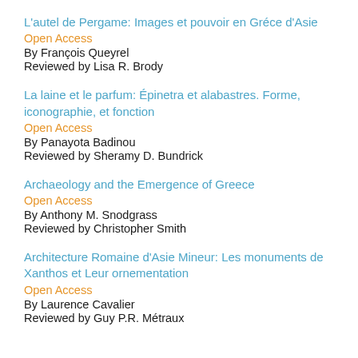L'autel de Pergame: Images et pouvoir en Gréce d'Asie
Open Access
By François Queyrel
Reviewed by Lisa R. Brody
La laine et le parfum: Épinetra et alabastres. Forme, iconographie, et fonction
Open Access
By Panayota Badinou
Reviewed by Sheramy D. Bundrick
Archaeology and the Emergence of Greece
Open Access
By Anthony M. Snodgrass
Reviewed by Christopher Smith
Architecture Romaine d'Asie Mineur: Les monuments de Xanthos et Leur ornementation
Open Access
By Laurence Cavalier
Reviewed by Guy P.R. Métraux